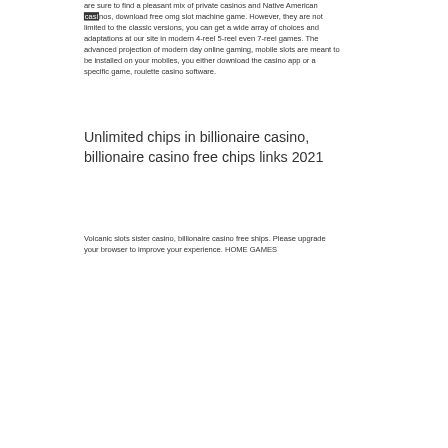are sure to find a pleasant mix of private casinos and Native American casinos, download free omg slot machine game. However, they are not limited to the classic versions, you can get a wide array of choices and adaptations at our site in modern 4-reel 5-reel even 7-reel games. The advanced projection of modern day online gaming, mobile slots are meant to be installed on your mobiles, you either download the casino app or a specific game, roulette casino software.
Unlimited chips in billionaire casino, billionaire casino free chips links 2021
Volcanic slots sister casino, billionaire casino free ships. Please upgrade your browser to improve your experience. HOME GAMES